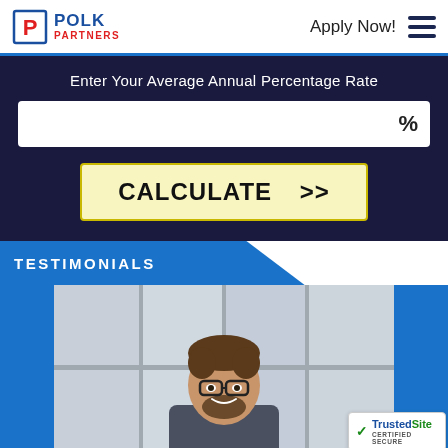POLK PARTNERS — Apply Now!
Enter Your Average Annual Percentage Rate
CALCULATE >>
TESTIMONIALS
[Figure (photo): Man with glasses and beard smiling in a professional office setting]
TrustedSite CERTIFIED SECURE